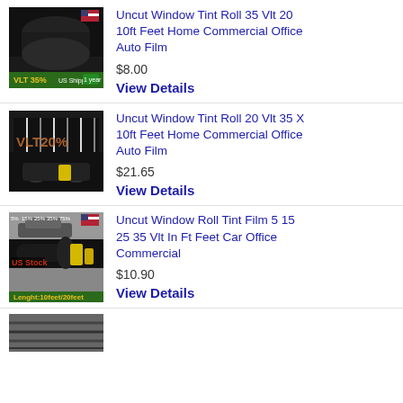[Figure (photo): Black window tint roll product image with VLT 35% label and US shipping badge]
Uncut Window Tint Roll 35 Vlt 20 10ft Feet Home Commercial Office Auto Film
$8.00
View Details
[Figure (photo): Black window tint rolls product image with VLT20% watermark]
Uncut Window Tint Roll 20 Vlt 35 X 10ft Feet Home Commercial Office Auto Film
$21.65
View Details
[Figure (photo): Window tint film product image with car, roll, and yellow squeegees, Lenght 10feet/20feet label]
Uncut Window Roll Tint Film 5 15 25 35 Vlt In Ft Feet Car Office Commercial
$10.90
View Details
[Figure (photo): Partially visible window tint product image at bottom of page]